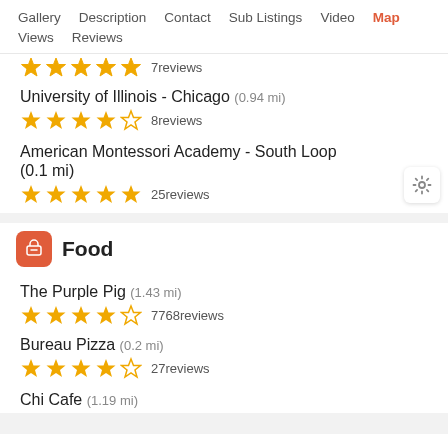Gallery  Description  Contact  Sub Listings  Video  Map  Views  Reviews
University of Illinois - Chicago (0.94 mi) 8reviews
American Montessori Academy - South Loop (0.1 mi) 25reviews
Food
The Purple Pig (1.43 mi) 7768reviews
Bureau Pizza (0.2 mi) 27reviews
Chi Cafe (1.19 mi)